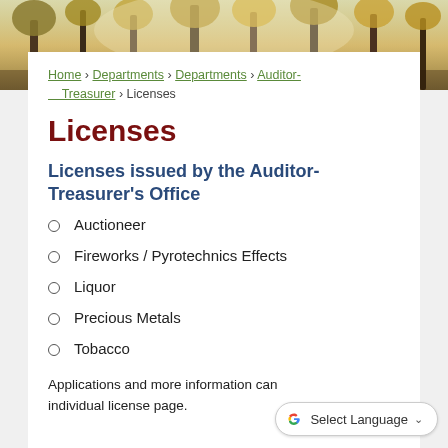[Figure (photo): Forest/woodland autumn scene with trees and golden foliage used as header banner image]
Home › Departments › Departments › Auditor-Treasurer › Licenses
Licenses
Licenses issued by the Auditor-Treasurer's Office
Auctioneer
Fireworks / Pyrotechnics Effects
Liquor
Precious Metals
Tobacco
Applications and more information can be found on each individual license page.